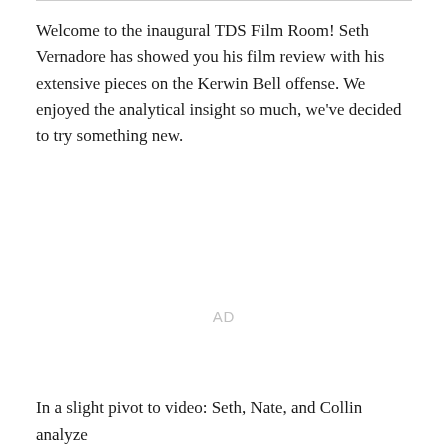Welcome to the inaugural TDS Film Room! Seth Vernadore has showed you his film review with his extensive pieces on the Kerwin Bell offense. We enjoyed the analytical insight so much, we've decided to try something new.
AD
In a slight pivot to video: Seth, Nate, and Collin analyze